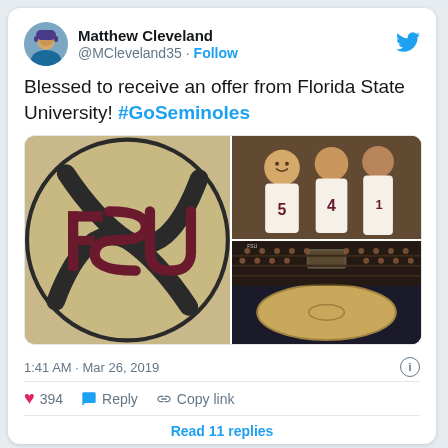[Figure (screenshot): Tweet by Matthew Cleveland (@MCleveland35) with FSU offer announcement and images of FSU logo, basketball players, and arena]
Matthew Cleveland
@MCleveland35 · Follow
Blessed to receive an offer from Florida State University! #GoSeminoles
[Figure (logo): Florida State University FSU logo on tan/gold background]
[Figure (photo): FSU basketball players celebrating together in white uniforms with numbers 5 and 4 visible]
[Figure (photo): FSU arena (Donald L. Tucker Civic Center) packed with fans during a basketball game, aerial view of court]
1:41 AM · Mar 26, 2019
394
Reply
Copy link
Read 11 replies